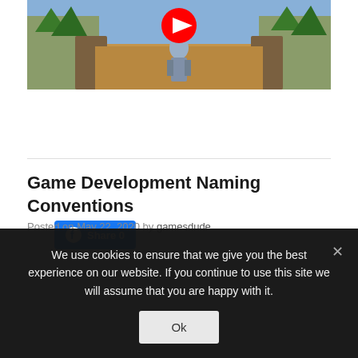[Figure (screenshot): Video thumbnail showing a game scene with a character in armor standing on a path, with trees and landscape in background. A YouTube play button (red with white triangle) is overlaid at the top center.]
Share 0
Game Development Naming Conventions
Posted on May 22, 2020 by gamesdude
We use cookies to ensure that we give you the best experience on our website. If you continue to use this site we will assume that you are happy with it.
Ok